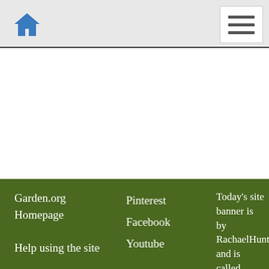Garden.org - home icon and hamburger menu
Garden.org Homepage
Help using the site
Pinterest
Facebook
Youtube
Today's site banner is by RachaelHunter and is called "Lillies"